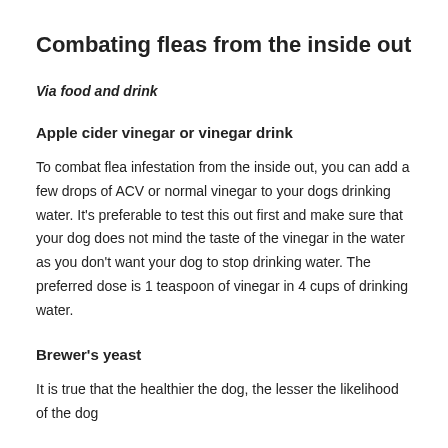Combating fleas from the inside out
Via food and drink
Apple cider vinegar or vinegar drink
To combat flea infestation from the inside out, you can add a few drops of ACV or normal vinegar to your dogs drinking water. It's preferable to test this out first and make sure that your dog does not mind the taste of the vinegar in the water as you don't want your dog to stop drinking water. The preferred dose is 1 teaspoon of vinegar in 4 cups of drinking water.
Brewer's yeast
It is true that the healthier the dog, the lesser the likelihood of the dog